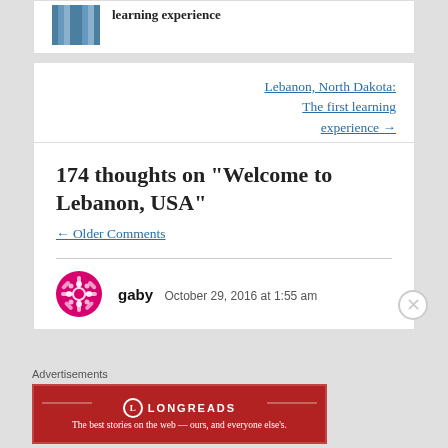[Figure (photo): Small thumbnail photo of a person in a blue striped shirt]
learning experience
Lebanon, North Dakota: The first learning experience →
174 thoughts on “Welcome to Lebanon, USA”
← Older Comments
[Figure (illustration): Pink circular decorative avatar icon for user gaby]
gaby   October 29, 2016 at 1:55 am
Advertisements
[Figure (logo): Longreads ad banner: red background with Longreads logo and tagline 'The best stories on the web — ours, and everyone else's.']